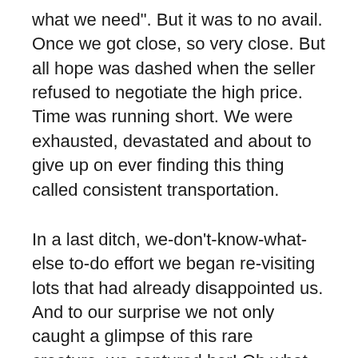what we need". But it was to no avail. Once we got close, so very close. But all hope was dashed when the seller refused to negotiate the high price. Time was running short. We were exhausted, devastated and about to give up on ever finding this thing called consistent transportation.
In a last ditch, we-don't-know-what-else to-do effort we began re-visiting lots that had already disappointed us. And to our surprise we not only caught a glimpse of this rare creature, we captured her! Oh what joy! Sure, she was over-budget. But she was a thing of beauty. Even our mechanic who is well-versed in the legend of the reliable car, was impressed with her perfection.